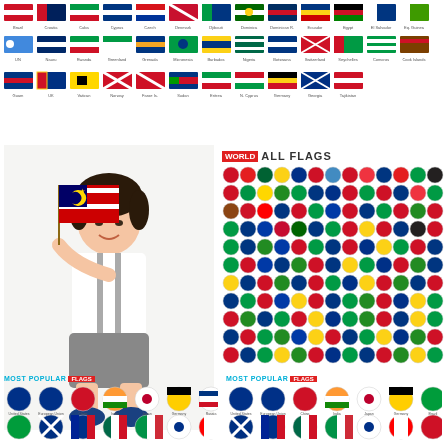[Figure (illustration): Top horizontal strip showing rectangular world flags in two rows with country name labels below each flag]
[Figure (photo): Young Asian boy holding a Malaysian flag, wearing white shirt, grey shorts, and blue sneakers with suspenders, on a white background]
[Figure (infographic): World All Flags section showing circular flag icons arranged in a grid for all world countries]
[Figure (infographic): Most Popular Flags section (left) showing circular flag icons for most popular countries with labels]
[Figure (infographic): Most Popular Flags section (right) showing circular flag icons for most popular countries with labels]